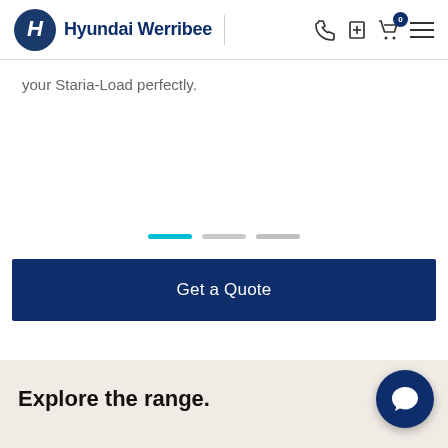Hyundai Werribee
your Staria-Load perfectly.
[Figure (infographic): Pagination indicator with three horizontal bars: first bar is cyan/blue (active), second and third are grey (inactive).]
Get a Quote
Explore the range.